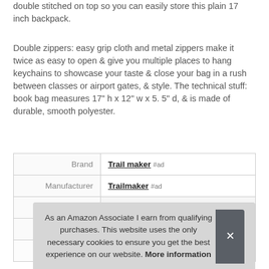double stitched on top so you can easily store this plain 17 inch backpack.
Double zippers: easy grip cloth and metal zippers make it twice as easy to open & give you multiple places to hang keychains to showcase your taste & close your bag in a rush between classes or airport gates, & style. The technical stuff: book bag measures 17" h x 12" w x 5. 5" d, & is made of durable, smooth polyester.
|  |  |
| --- | --- |
| Brand | Trail maker #ad |
| Manufacturer | Trailmaker #ad |
|  |  |
|  |  |
| Width | 11.18 Inches |
As an Amazon Associate I earn from qualifying purchases. This website uses the only necessary cookies to ensure you get the best experience on our website. More information